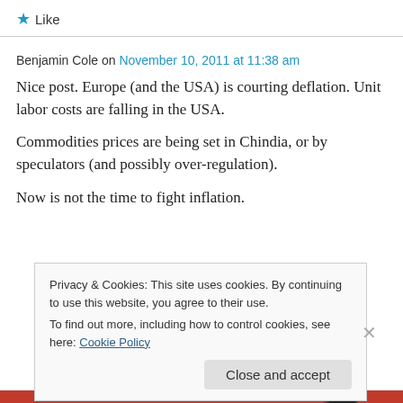★ Like
Benjamin Cole on November 10, 2011 at 11:38 am
Nice post. Europe (and the USA) is courting deflation. Unit labor costs are falling in the USA.
Commodities prices are being set in Chindia, or by speculators (and possibly over-regulation).
Now is not the time to fight inflation.
Privacy & Cookies: This site uses cookies. By continuing to use this website, you agree to their use.
To find out more, including how to control cookies, see here: Cookie Policy